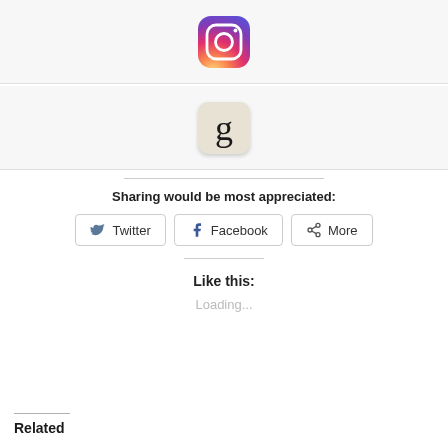[Figure (logo): Instagram app icon with gradient rainbow background and camera outline]
[Figure (logo): Goodreads app icon — lowercase letter g on a tan/beige rounded square tile]
Sharing would be most appreciated:
Twitter
Facebook
More
Like this:
Loading...
Related